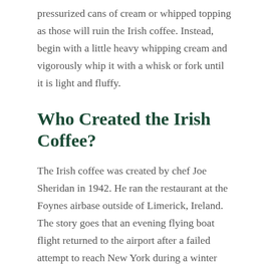pressurized cans of cream or whipped topping as those will ruin the Irish coffee. Instead, begin with a little heavy whipping cream and vigorously whip it with a whisk or fork until it is light and fluffy.
Who Created the Irish Coffee?
The Irish coffee was created by chef Joe Sheridan in 1942. He ran the restaurant at the Foynes airbase outside of Limerick, Ireland. The story goes that an evening flying boat flight returned to the airport after a failed attempt to reach New York during a winter storm. Sheridan mixed up the first round of Irish coffees for the stranded passengers. One surprised American asked, “Hey Buddy, is this Brazilian coffee?” “No,” said Joe, “that’s Irish coffee.”